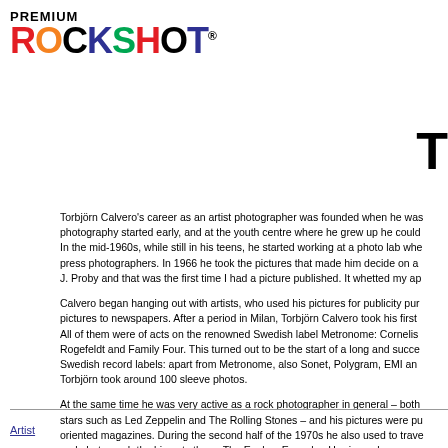[Figure (logo): Premium Rockshot logo with PREMIUM text above and ROCKSHOT in multicolor bold letters with registered trademark symbol]
T
Torbjörn Calvero's career as an artist photographer was founded when he was photography started early, and at the youth centre where he grew up he could In the mid-1960s, while still in his teens, he started working at a photo lab whe press photographers. In 1966 he took the pictures that made him decide on a J. Proby and that was the first time I had a picture published. It whetted my ap
Calvero began hanging out with artists, who used his pictures for publicity pur pictures to newspapers. After a period in Milan, Torbjörn Calvero took his first All of them were of acts on the renowned Swedish label Metronome: Cornelis Rogefeldt and Family Four. This turned out to be the start of a long and succe Swedish record labels: apart from Metronome, also Sonet, Polygram, EMI an Torbjörn took around 100 sleeve photos.
At the same time he was very active as a rock photographer in general – both stars such as Led Zeppelin and The Rolling Stones – and his pictures were pu oriented magazines. During the second half of the 1970s he also used to trave and photograph the big acts there: The Eagles, Emmylou Harris, and many m archives there are innumerable pictures of Swedish artists from more than thr Calvero sadly left us in December 2016.
Artist